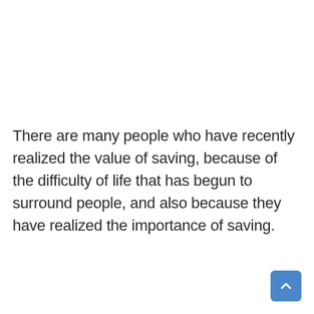There are many people who have recently realized the value of saving, because of the difficulty of life that has begun to surround people, and also because they have realized the importance of saving.